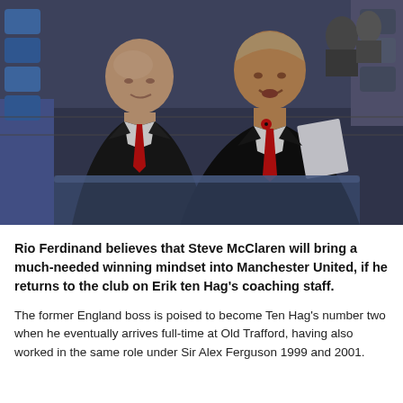[Figure (photo): Two men in black suits with red ties sitting in stadium seats. The man on the left is bald, the man on the right has light brown hair and is holding a piece of paper. Stadium seating visible in the background.]
Rio Ferdinand believes that Steve McClaren will bring a much-needed winning mindset into Manchester United, if he returns to the club on Erik ten Hag's coaching staff.
The former England boss is poised to become Ten Hag's number two when he eventually arrives full-time at Old Trafford, having also worked in the same role under Sir Alex Ferguson 1999 and 2001.